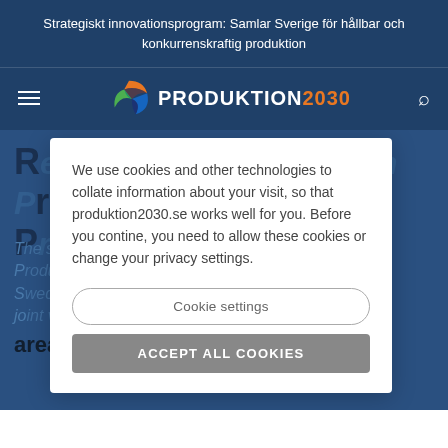Strategiskt innovationsprogram: Samlar Sverige för hållbar och konkurrenskraftig produktion
[Figure (logo): Produktion2030 logo with colorful circular icon and text PRODUKTION2030]
Research and Innovation Programme Produktion2030
The strategic innovation programme Produktion2030 is part of Vinnova, the Swedish Energy Agency, and Formas' joint venture in strategic innovation areas. The aim of the venture in
We use cookies and other technologies to collate information about your visit, so that produktion2030.se works well for you. Before you contine, you need to allow these cookies or change your privacy settings.
Cookie settings
ACCEPT ALL COOKIES